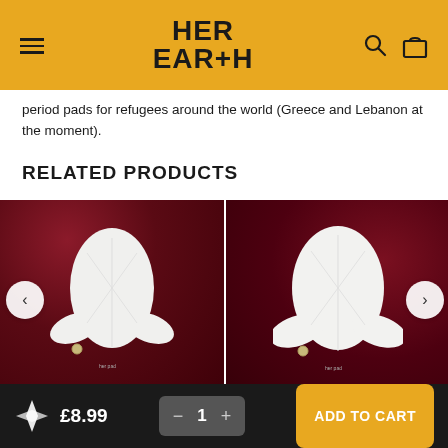HER EARTH
period pads for refugees around the world (Greece and Lebanon at the moment).
RELATED PRODUCTS
[Figure (photo): White reusable cloth menstrual pad on dark red velvet background, left product card]
[Figure (photo): White reusable cloth menstrual pad on dark red velvet background, right product card]
£8.99  −  1  +  ADD TO CART